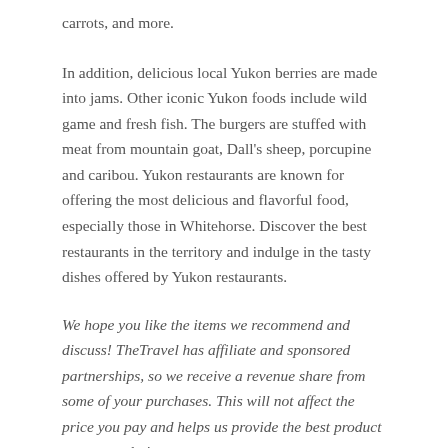carrots, and more.
In addition, delicious local Yukon berries are made into jams. Other iconic Yukon foods include wild game and fresh fish. The burgers are stuffed with meat from mountain goat, Dall’s sheep, porcupine and caribou. Yukon restaurants are known for offering the most delicious and flavorful food, especially those in Whitehorse. Discover the best restaurants in the territory and indulge in the tasty dishes offered by Yukon restaurants.
We hope you like the items we recommend and discuss! TheTravel has affiliate and sponsored partnerships, so we receive a revenue share from some of your purchases. This will not affect the price you pay and helps us provide the best product recommendations.
[Figure (photo): Bamboo forest in Kyoto, Japan — image placeholder with alt text]
Sagano bamboo forest: one of the most enchanting in the world